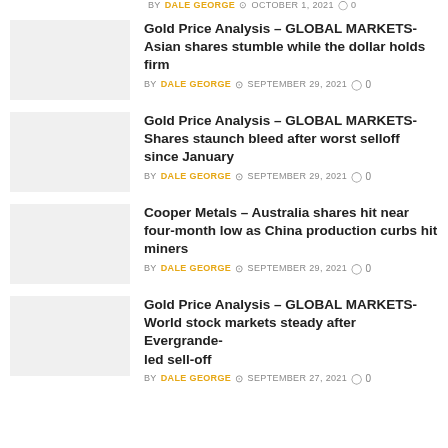BY DALE GEORGE  OCTOBER 1, 2021  0
Gold Price Analysis – GLOBAL MARKETS- Asian shares stumble while the dollar holds firm
BY DALE GEORGE  SEPTEMBER 29, 2021  0
Gold Price Analysis – GLOBAL MARKETS- Shares staunch bleed after worst selloff since January
BY DALE GEORGE  SEPTEMBER 29, 2021  0
Cooper Metals – Australia shares hit near four-month low as China production curbs hit miners
BY DALE GEORGE  SEPTEMBER 29, 2021  0
Gold Price Analysis – GLOBAL MARKETS- World stock markets steady after Evergrande-led sell-off
BY DALE GEORGE  SEPTEMBER 27, 2021  0